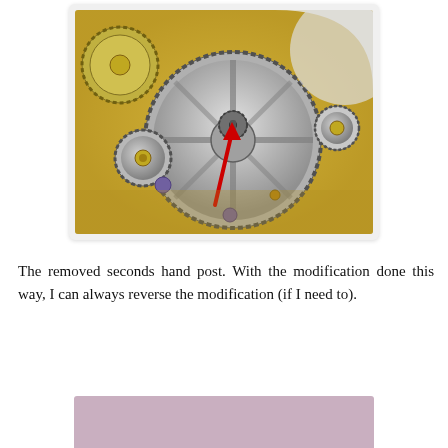[Figure (photo): Close-up photograph of watch movement gears, showing the removed seconds hand post with a red arrow pointing to a small pinion gear in the center of a large toothed wheel. Multiple brass and silver gears are visible on a gold-colored movement plate.]
The removed seconds hand post. With the modification done this way, I can always reverse the modification (if I need to).
[Figure (photo): Partial view of another photograph, showing a pinkish/purple toned image, cropped at the bottom of the page.]